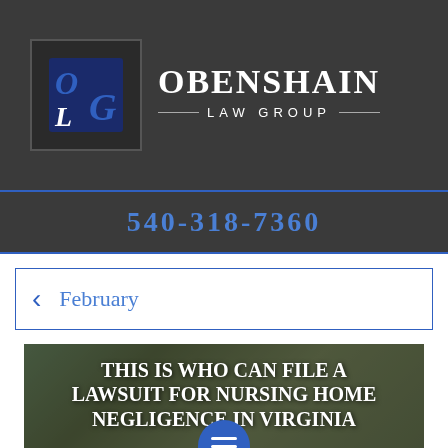[Figure (logo): Obenshain Law Group logo with OLG monogram on dark background]
540-318-7360
< February
[Figure (photo): Background photo of people outdoors with overlaid text: THIS IS WHO CAN FILE A LAWSUIT FOR NURSING HOME NEGLIGENCE IN VIRGINIA, with a blue menu button and date bar reading February 2021]